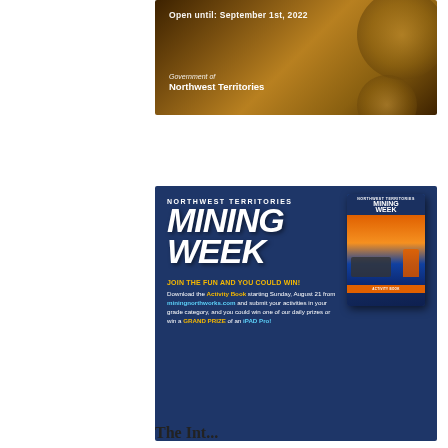[Figure (infographic): Top banner showing 'Open until: September 1st, 2022' with 'Government of Northwest Territories' text on a warm golden/brown background with mineral imagery]
[Figure (infographic): Northwest Territories Mining Week advertisement on dark blue background. Features large bold text 'NORTHWEST TERRITORIES MINING WEEK', a book cover image on the right, and promotional text: 'JOIN THE FUN AND YOU COULD WIN! Download the Activity Book starting Sunday, August 21 from miningnorthworks.com and submit your activities in your grade category, and you could win one of our daily prizes or win a GRAND PRIZE of an iPAD Pro!']
The Int...